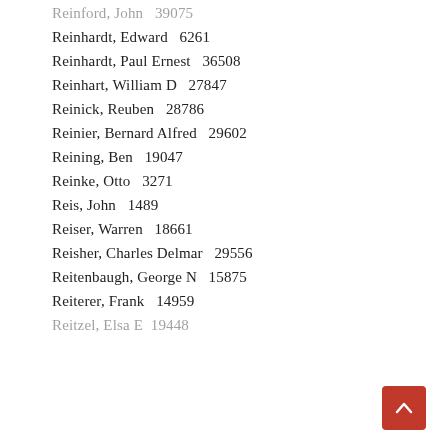Reinford, John   39075
Reinhardt, Edward   6261
Reinhardt, Paul Ernest   36508
Reinhart, William D   27847
Reinick, Reuben   28786
Reinier, Bernard Alfred   29602
Reining, Ben   19047
Reinke, Otto   3271
Reis, John   1489
Reiser, Warren   18661
Reisher, Charles Delmar   29556
Reitenbaugh, George N   15875
Reiterer, Frank   14959
Reitzel, Elsa E   19448